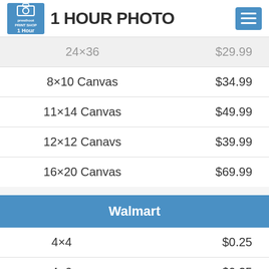1 HOUR PHOTO
| Item | Price |
| --- | --- |
| 8×10 Canvas | $34.99 |
| 11×14 Canvas | $49.99 |
| 12×12 Canavs | $39.99 |
| 16×20 Canvas | $69.99 |
Walmart
| Item | Price |
| --- | --- |
| 4×4 | $0.25 |
| 4×6 | $0.25 |
| 5×5 | $0.76 |